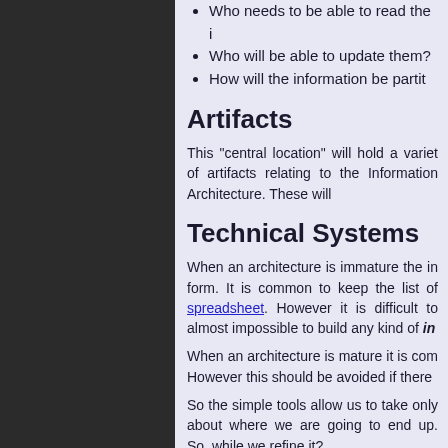Who needs to be able to read the [information]?
Who will be able to update them?
How will the information be partitioned?
Artifacts
This "central location" will hold a variety of artifacts relating to the Information Architecture. These will
Technical Systems
When an architecture is immature the information exists in informal form. It is common to keep the list of [items] in a spreadsheet. However it is difficult to [do something] and almost impossible to build any kind of in[tegration].
When an architecture is mature it is com[mon to...]. However this should be avoided if there [are issues].
So the simple tools allow us to take only [the first steps] about where we are going to end up. So, [how do we] while we refine it?
architect, architecture,